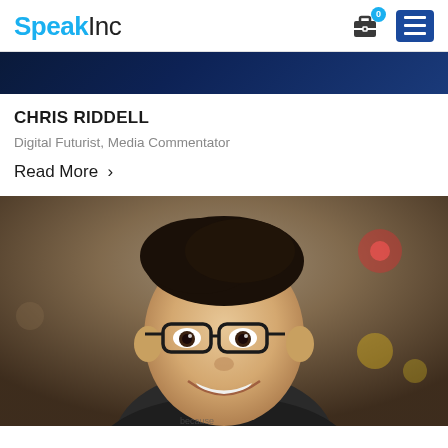SpeakInc
[Figure (photo): Dark blue banner image, cropped top portion of a speaker photo]
CHRIS RIDDELL
Digital Futurist, Media Commentator
Read More >
[Figure (photo): Portrait photo of a young Asian man with glasses, dark hair, smiling, wearing a dark grey t-shirt, in an indoor setting]